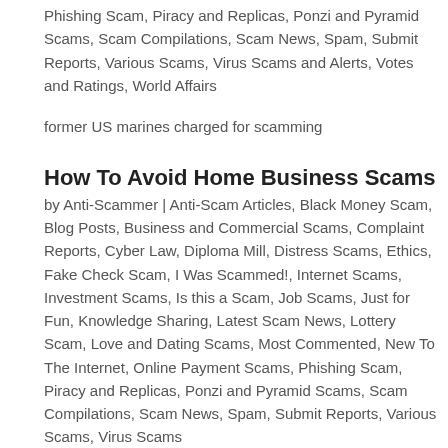Phishing Scam, Piracy and Replicas, Ponzi and Pyramid Scams, Scam Compilations, Scam News, Spam, Submit Reports, Various Scams, Virus Scams and Alerts, Votes and Ratings, World Affairs
former US marines charged for scamming
How To Avoid Home Business Scams
by Anti-Scammer | Anti-Scam Articles, Black Money Scam, Blog Posts, Business and Commercial Scams, Complaint Reports, Cyber Law, Diploma Mill, Distress Scams, Ethics, Fake Check Scam, I Was Scammed!, Internet Scams, Investment Scams, Is this a Scam, Job Scams, Just for Fun, Knowledge Sharing, Latest Scam News, Lottery Scam, Love and Dating Scams, Most Commented, New To The Internet, Online Payment Scams, Phishing Scam, Piracy and Replicas, Ponzi and Pyramid Scams, Scam Compilations, Scam News, Spam, Submit Reports, Various Scams, Virus Scams